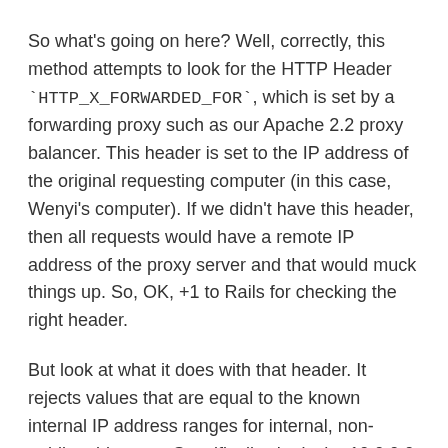So what's going on here? Well, correctly, this method attempts to look for the HTTP Header `HTTP_X_FORWARDED_FOR`, which is set by a forwarding proxy such as our Apache 2.2 proxy balancer. This header is set to the IP address of the original requesting computer (in this case, Wenyi's computer). If we didn't have this header, then all requests would have a remote IP address of the proxy server and that would muck things up. So, OK, +1 to Rails for checking the right header.
But look at what it does with that header. It rejects values that are equal to the known internal IP address ranges for internal, non-public addresses. Specifically, that's the 10.0.0.0, 172.16.0.0, and 192.168.0.0 networks. If the IP address of the remote connection is first hitting a forwarding proxy (as it is on my machine) and the remote connection is coming from one of those IP ranges (which it is here at Camber Hawaii) then the address is dropped!!! So it falls back to `@env['REMOTE_ADDR']` which, (wait for it......) because we